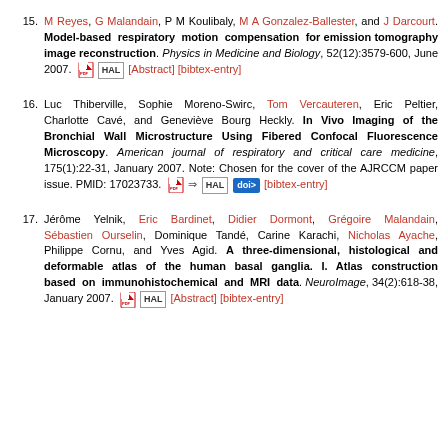15. M Reyes, G Malandain, P M Koulibaly, M A Gonzalez-Ballester, and J Darcourt. Model-based respiratory motion compensation for emission tomography image reconstruction. Physics in Medicine and Biology, 52(12):3579-600, June 2007. [Abstract] [bibtex-entry]
16. Luc Thiberville, Sophie Moreno-Swirc, Tom Vercauteren, Eric Peltier, Charlotte Cavé, and Geneviève Bourg Heckly. In Vivo Imaging of the Bronchial Wall Microstructure Using Fibered Confocal Fluorescence Microscopy. American journal of respiratory and critical care medicine, 175(1):22-31, January 2007. Note: Chosen for the cover of the AJRCCM paper issue. PMID: 17023733. [bibtex-entry]
17. Jérôme Yelnik, Eric Bardinet, Didier Dormont, Grégoire Malandain, Sébastien Ourselin, Dominique Tandé, Carine Karachi, Nicholas Ayache, Philippe Cornu, and Yves Agid. A three-dimensional, histological and deformable atlas of the human basal ganglia. I. Atlas construction based on immunohistochemical and MRI data. NeuroImage, 34(2):618-38, January 2007. [Abstract] [bibtex-entry]